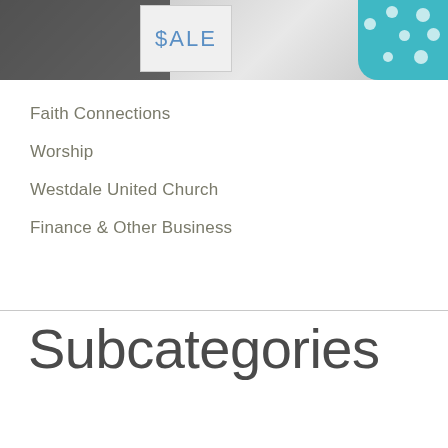[Figure (photo): A photo showing a handwritten '$ALE' sign on a white board, a dark laptop/frame on the left, and teal polka dot fabric on the right, against a grey background.]
Faith Connections
Worship
Westdale United Church
Finance & Other Business
Subcategories